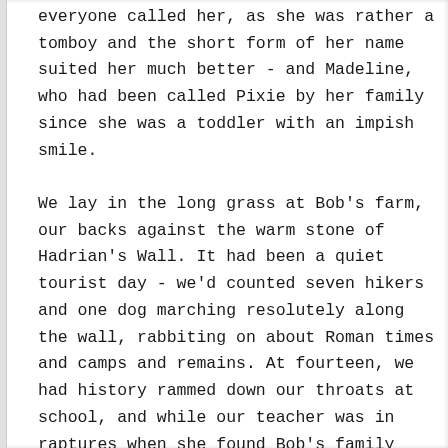everyone called her, as she was rather a tomboy and the short form of her name suited her much better - and Madeline, who had been called Pixie by her family since she was a toddler with an impish smile.

We lay in the long grass at Bob's farm, our backs against the warm stone of Hadrian's Wall. It had been a quiet tourist day - we'd counted seven hikers and one dog marching resolutely along the wall, rabbiting on about Roman times and camps and remains. At fourteen, we had history rammed down our throats at school, and while our teacher was in raptures when she found Bob's family lived 'on the wall', we didn't give a bugger. It was somewhere to escape to where Bob's dad couldn't rope her into helping with the sheep. We'd spent the last two weeks working shifts at the local shops, and had